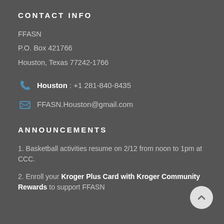CONTACT INFO
FFASN
P.O. Box 421766
Houston, Texas 77242-1766
Houston : +1 281-840-8435
FFASN.Houston@gmail.com
ANNOUNCEMENTS
1. Basketball activities resume on 2/12 from noon to 1pm at CCC.
2. Enroll your Kroger Plus Card with Kroger Community Rewards to support FFASN